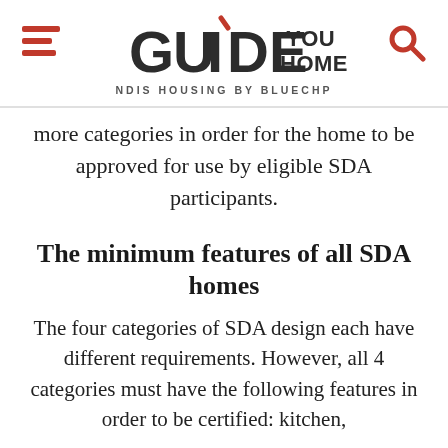[Figure (logo): GuideYouHome logo with hamburger menu icon on left and search icon on right. Logo shows 'GUIDE' in large bold dark letters with red accent mark on I, 'YOU HOME' stacked on right side, tagline 'NDIS HOUSING BY BLUECHP' below.]
more categories in order for the home to be approved for use by eligible SDA participants.
The minimum features of all SDA homes
The four categories of SDA design each have different requirements. However, all 4 categories must have the following features in order to be certified: kitchen,